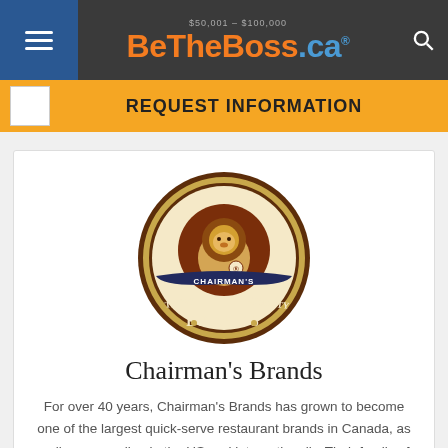[Figure (logo): BeTheBoss.ca website navigation bar with hamburger menu, orange and blue logo, and search icon]
REQUEST INFORMATION
[Figure (logo): Chairman's Brands circular logo — brown and gold emblem with lion, 'TRUST' and 'QUALITY' banners, 'CHAIRMAN'S BRANDS' text]
Chairman's Brands
For over 40 years, Chairman's Brands has grown to become one of the largest quick-serve restaurant brands in Canada, as well as expanding in the US and internationally. Their family of brands includes...